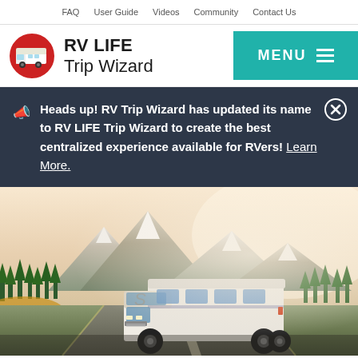FAQ  User Guide  Videos  Community  Contact Us
RV LIFE Trip Wizard
Heads up! RV Trip Wizard has updated its name to RV LIFE Trip Wizard to create the best centralized experience available for RVers! Learn More.
[Figure (photo): Hero image of a class C motorhome RV driving on a road with snow-capped mountains and forest in the background]